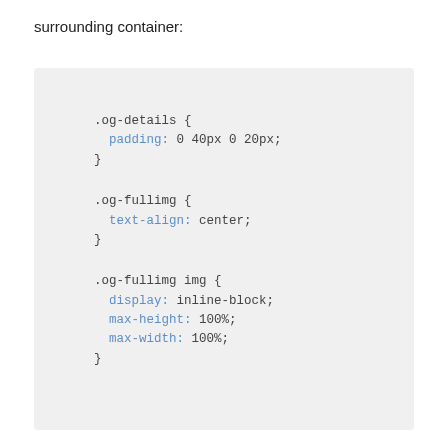surrounding container:
[Figure (screenshot): Code block on light gray background showing CSS rules for .og-details, .og-fullimg, and .og-fullimg img selectors]